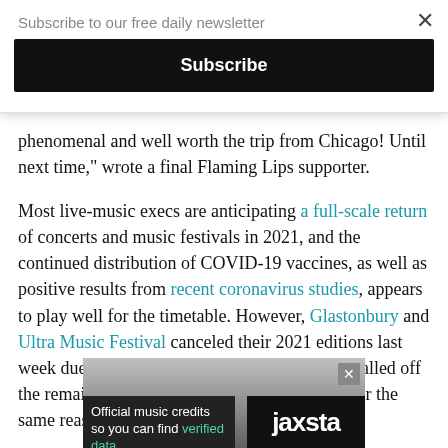Subscribe to our free daily newsletter
Subscribe
phenomenal and well worth the trip from Chicago! Until next time," wrote a final Flaming Lips supporter.
Most live-music execs are anticipating a full-scale return of concerts and music festivals in 2021, and the continued distribution of COVID-19 vaccines, as well as positive results from recent coronavirus studies, appears to play well for the timetable. However, Glastonbury and Ultra Music Festival canceled their 2021 editions last week due to COVID-19 concerns, and Halsey called off the remaining stops on her Manic World Tour for the same reason.
[Figure (other): Advertisement banner for Jaxsta: 'Official music credits so you can find verified data' with Jaxsta logo]